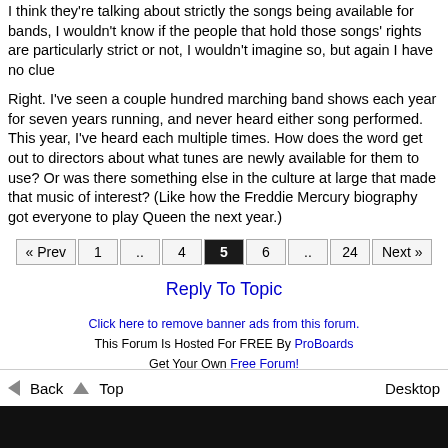I think they're talking about strictly the songs being available for bands, I wouldn't know if the people that hold those songs' rights are particularly strict or not, I wouldn't imagine so, but again I have no clue
Right. I've seen a couple hundred marching band shows each year for seven years running, and never heard either song performed. This year, I've heard each multiple times. How does the word get out to directors about what tunes are newly available for them to use? Or was there something else in the culture at large that made that music of interest? (Like how the Freddie Mercury biography got everyone to play Queen the next year.)
« Prev  1  ..  4  5  6  ..  24  Next »
Reply To Topic
Click here to remove banner ads from this forum.
This Forum Is Hosted For FREE By ProBoards
Get Your Own Free Forum!
Terms of Service  Privacy  Cookies  FTC Disclosure  Report Abuse  Do Not Sell My Personal Information
◄ Back  ▲ Top  Desktop